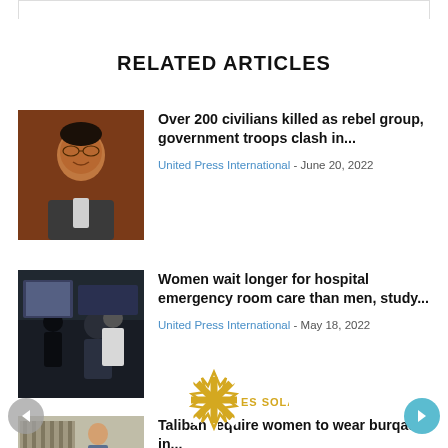RELATED ARTICLES
[Figure (photo): Headshot of a man in a suit against a reddish-brown background]
Over 200 civilians killed as rebel group, government troops clash in...
United Press International - June 20, 2022
[Figure (photo): Hospital emergency room scene with people and equipment in shadow]
Women wait longer for hospital emergency room care than men, study...
United Press International - May 18, 2022
[Figure (photo): Partial image of a child]
Taliban require women to wear burqas in public...
[Figure (logo): ES Solar logo - asterisk/snowflake shape in gold/yellow with text ES SOLAR]